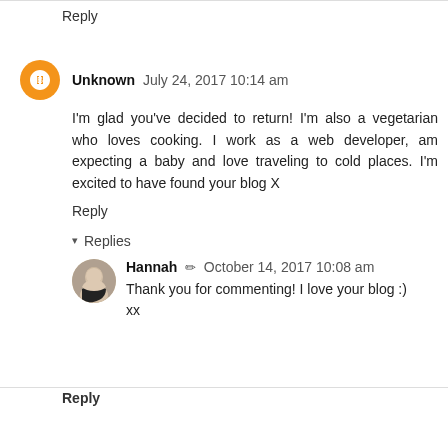Reply
Unknown  July 24, 2017 10:14 am
I'm glad you've decided to return! I'm also a vegetarian who loves cooking. I work as a web developer, am expecting a baby and love traveling to cold places. I'm excited to have found your blog X
Reply
Replies
Hannah  October 14, 2017 10:08 am
Thank you for commenting! I love your blog :) xx
Reply